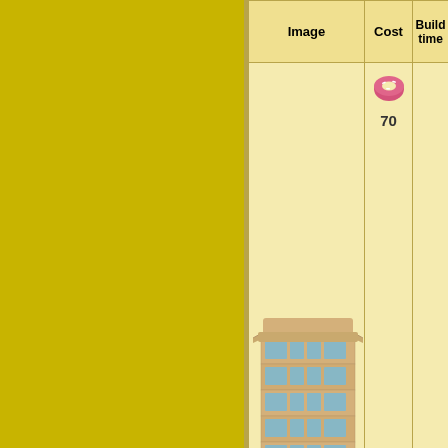| Image | Cost | Build time |
| --- | --- | --- |
| [building image] | 70 donuts / 50 donuts | 6s |
| Task |  |  |
| Depreciating in Value |  |  |